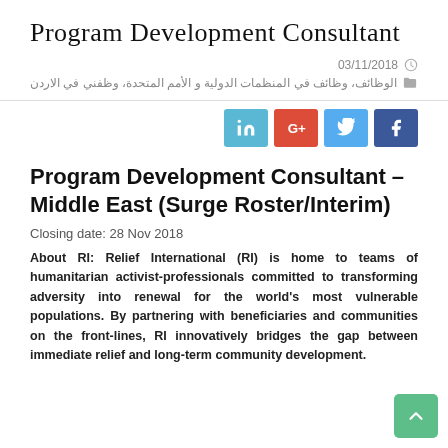Program Development Consultant
03/11/2018
الوظائف، وظائف في المنظمات الدولية و الأمم المتحدة، وظفني في الاردن
[Figure (infographic): Social share buttons: LinkedIn (blue), Google+ (red), Twitter (blue), Facebook (dark blue)]
Program Development Consultant – Middle East (Surge Roster/Interim)
Closing date: 28 Nov 2018
About RI: Relief International (RI) is home to teams of humanitarian activist-professionals committed to transforming adversity into renewal for the world's most vulnerable populations. By partnering with beneficiaries and communities on the front-lines, RI innovatively bridges the gap between immediate relief and long-term community development.